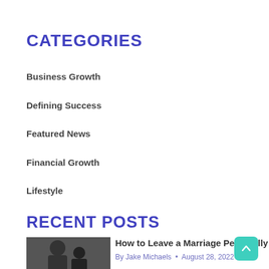CATEGORIES
Business Growth
Defining Success
Featured News
Financial Growth
Lifestyle
RECENT POSTS
How to Leave a Marriage Peacefully
By Jake Michaels • August 28, 2022